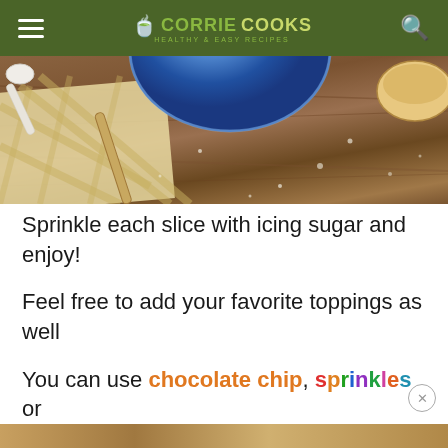≡  CORRIE COOKS  🔍
[Figure (photo): Top-down photo of a wooden table with a blue bowl, wooden spoon, checkered cloth napkin, and a bread roll]
Sprinkle each slice with icing sugar and enjoy!
Feel free to add your favorite toppings as well
You can use chocolate chip, sprinkles or anything you like.